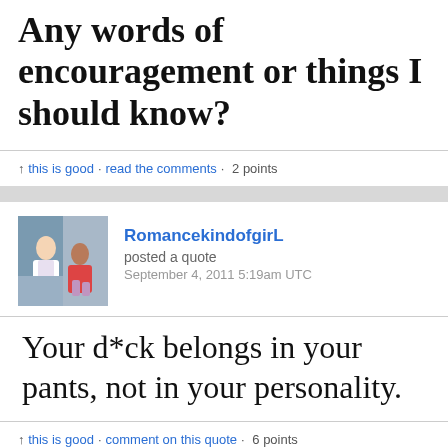Any words of encouragement or things I should know?
this is good · read the comments · 2 points
RomancekindofgirL
posted a quote
September 4, 2011 5:19am UTC
Your d*ck belongs in your pants, not in your personality.
this is good · comment on this quote · 6 points
RomancekindofgirL
posted a quote
August 4, 2011 8:36pm UTC